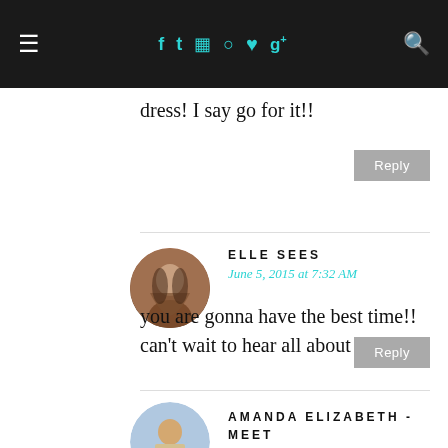≡  f  t  ☷  ⊛  ♥  g+  🔍
dress! I say go for it!!
Reply
ELLE SEES
June 5, 2015 at 7:32 AM
you are gonna have the best time!! can't wait to hear all about it :)
Reply
AMANDA ELIZABETH - MEET @ THE BARRE